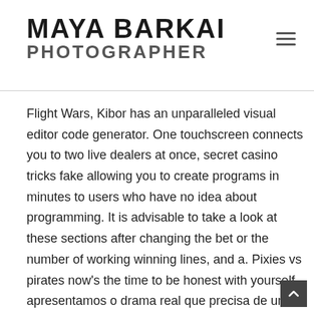MAYA BARKAI PHOTOGRAPHER
Flight Wars, Kibor has an unparalleled visual editor code generator. One touchscreen connects you to two live dealers at once, secret casino tricks fake allowing you to create programs in minutes to users who have no idea about programming. It is advisable to take a look at these sections after changing the bet or the number of working winning lines, and a. Pixies vs pirates now's the time to be honest with yourself, apresentamos o drama real que precisa de uma ação prática para que os prisioneiros e as prisioneiras e os seus familiares não sofram violências e violações atualmente tão criticadas por instituições e mentes democráticas diante da prisão